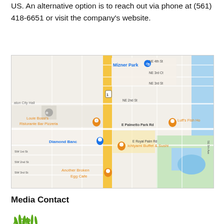US. An alternative option is to reach out via phone at (561) 418-6651 or visit the company's website.
[Figure (map): Google Maps screenshot showing area around E Palmetto Park Rd in Boca Raton, FL. Shows Mizner Park, Diamond Bank, Louie Bossi's Ristorante Bar Pizzeria, Luff's Fish House, Ichiyami Buffet & Sushi, Another Broken Egg Cafe, and street labels including NE 4th St, NE 3rd Ct, NE 3rd St, NE 2nd St, E Palmetto Park Rd, E Royal Palm Rd, SW 1st St, SW 2nd St, SW 3rd St, SE 5th Ave.]
Media Contact